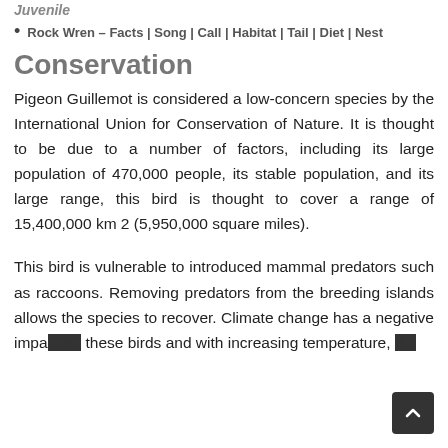Juvenile
Rock Wren – Facts | Song | Call | Habitat | Tail | Diet | Nest
Conservation
Pigeon Guillemot is considered a low-concern species by the International Union for Conservation of Nature. It is thought to be due to a number of factors, including its large population of 470,000 people, its stable population, and its large range, this bird is thought to cover a range of 15,400,000 km 2 (5,950,000 square miles).
This bird is vulnerable to introduced mammal predators such as raccoons. Removing predators from the breeding islands allows the species to recover. Climate change has a negative impact on these birds and with increasing temperature, the